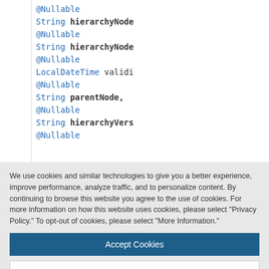[Figure (screenshot): Code snippet showing Java/Kotlin annotations with @Nullable and type declarations including String hierarchyNode, LocalDateTime validity, String parentNode, String hierarchyVers]
We use cookies and similar technologies to give you a better experience, improve performance, analyze traffic, and to personalize content. By continuing to browse this website you agree to the use of cookies. For more information on how this website uses cookies, please select "Privacy Policy." To opt-out of cookies, please select "More Information."
Accept Cookies
More Information
Privacy Policy | Powered by: TrustArc
[Figure (screenshot): Bottom code strip showing @Nullable annotation]